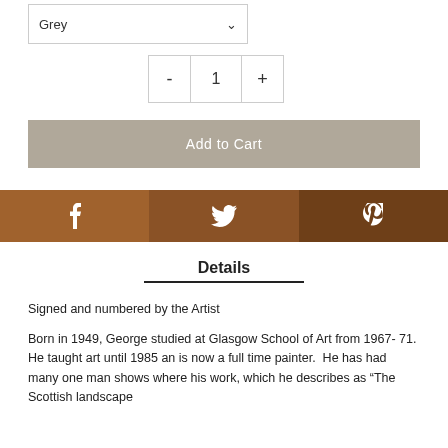Grey
- 1 +
Add to Cart
[Figure (infographic): Social sharing bar with three buttons: Facebook (f), Twitter (bird icon), Pinterest (p) on brown background shades]
Details
Signed and numbered by the Artist
Born in 1949, George studied at Glasgow School of Art from 1967- 71. He taught art until 1985 an is now a full time painter.  He has had many one man shows where his work, which he describes as “The Scottish landscape